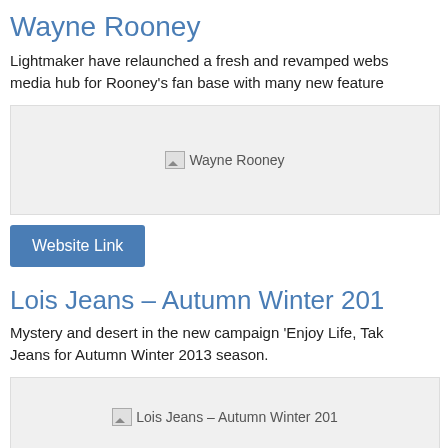Wayne Rooney
Lightmaker have relaunched a fresh and revamped webs… media hub for Rooney's fan base with many new feature…
[Figure (photo): Broken image placeholder for Wayne Rooney]
Website Link
Lois Jeans – Autumn Winter 201
Mystery and desert in the new campaign 'Enjoy Life, Tak… Jeans for Autumn Winter 2013 season.
[Figure (photo): Broken image placeholder for Lois Jeans – Autumn Winter 201]